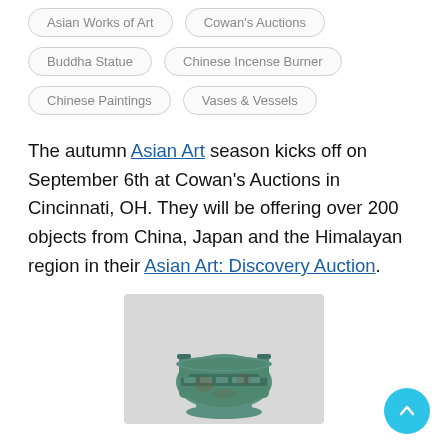Asian Works of Art
Cowan's Auctions
Buddha Statue
Chinese Incense Burner
Chinese Paintings
Vases & Vessels
The autumn Asian Art season kicks off on September 6th at Cowan's Auctions in Cincinnati, OH. They will be offering over 200 objects from China, Japan and the Himalayan region in their Asian Art: Discovery Auction.
[Figure (photo): Bronze vessel or ding with two handles, showing green patina, photographed against a light gray background. Appears to be an ancient Chinese bronze ritual vessel.]